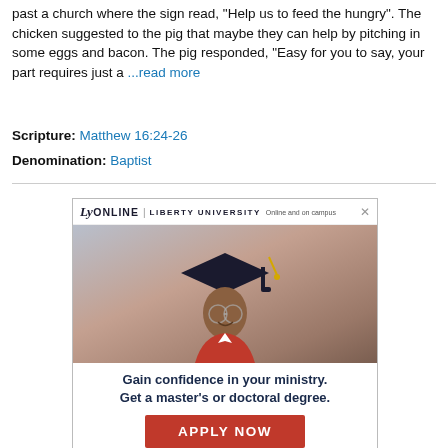past a church where the sign read, "Help us to feed the hungry". The chicken suggested to the pig that maybe they can help by pitching in some eggs and bacon. The pig responded, "Easy for you to say, your part requires just a ...read more
Scripture: Matthew 16:24-26
Denomination: Baptist
[Figure (infographic): Liberty University Online advertisement featuring a graduating student in cap and gown with text: 'Gain confidence in your ministry. Get a master's or doctoral degree.' and an 'APPLY NOW' button.]